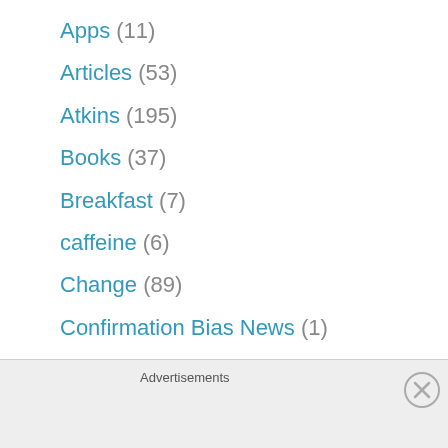Apps (11)
Articles (53)
Atkins (195)
Books (37)
Breakfast (7)
caffeine (6)
Change (89)
Confirmation Bias News (1)
Cooking (206)
Crock Pot (16)
Kitchen Experiments (129)
Advertisements